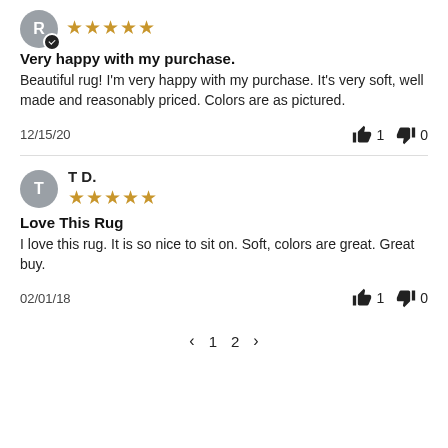[Figure (other): Reviewer avatar circle with letter R and checkmark badge, followed by 5 gold stars rating]
Very happy with my purchase.
Beautiful rug! I'm very happy with my purchase. It's very soft, well made and reasonably priced. Colors are as pictured.
12/15/20
👍 1   👎 0
[Figure (other): Reviewer avatar circle with letter T (grey background), reviewer name T D., followed by 5 gold stars rating]
Love This Rug
I love this rug. It is so nice to sit on. Soft, colors are great. Great buy.
02/01/18
👍 1   👎 0
< 1 2 >